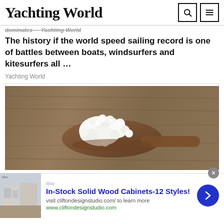Yachting World
The history if the world speed sailing record is one of battles between boats, windsurfers and kitesurfers all ...
Yachting World
[Figure (photo): A wooden spoon holding white kefir grains on a rustic wooden surface background]
In-Stock Solid Wood Cabinets-12 Styles!
visit cliftondesignstudio.com/ to learn more
www.cliftondesignstudio.com